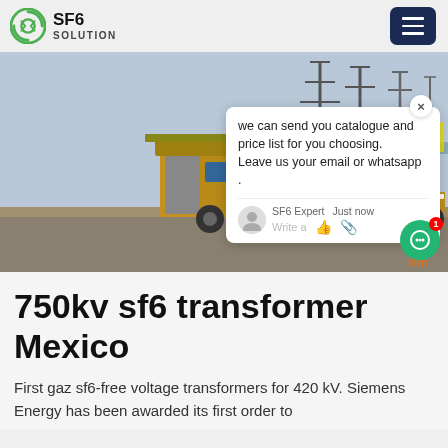[Figure (logo): SF6 Solution logo with green circular icon and bold text 'SF6 SOLUTION']
[Figure (photo): Yellow truck/service vehicle at an electrical substation with high-voltage towers and equipment in the background. A chat popup overlay is visible on the right side of the image.]
750kv sf6 transformer Mexico
First gaz sf6-free voltage transformers for 420 kV. Siemens Energy has been awarded its first order to